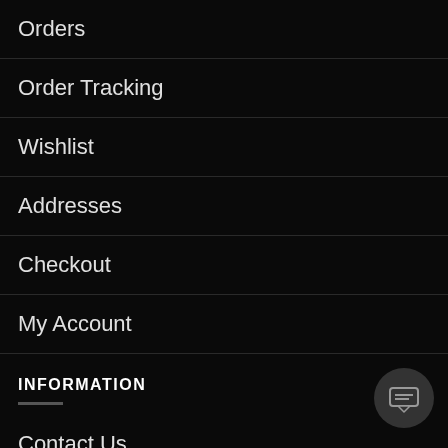Orders
Order Tracking
Wishlist
Addresses
Checkout
My Account
INFORMATION
Contact Us
Payment Method
Shipping & Delivery
[Figure (illustration): Dark circular chat button with speech bubble icon in bottom right corner]